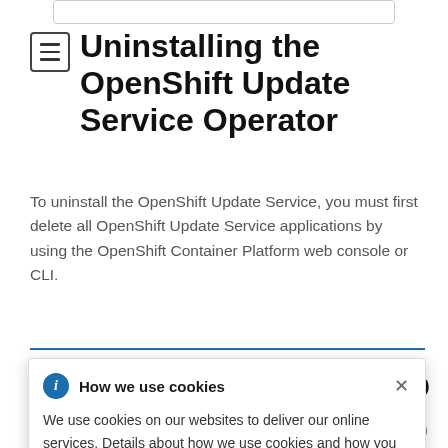Uninstalling the OpenShift Update Service Operator
To uninstall the OpenShift Update Service, you must first delete all OpenShift Update Service applications by using the OpenShift Container Platform web console or CLI.
How we use cookies
We use cookies on our websites to deliver our online services. Details about how we use cookies and how you may disable them are set out in our Privacy Statement. By using this website you agree to our use of cookies.
Operator.